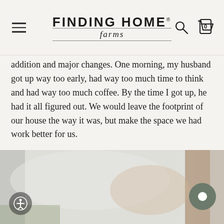FINDING HOME farms
addition and major changes. One morning, my husband got up way too early, had way too much time to think and had way too much coffee. By the time I got up, he had it all figured out. We would leave the footprint of our house the way it was, but make the space we had work better for us.
[Figure (photo): Blurred interior photo of a home space, likely a kitchen or living area, showing muted neutral tones with a brown wooden element in the background.]